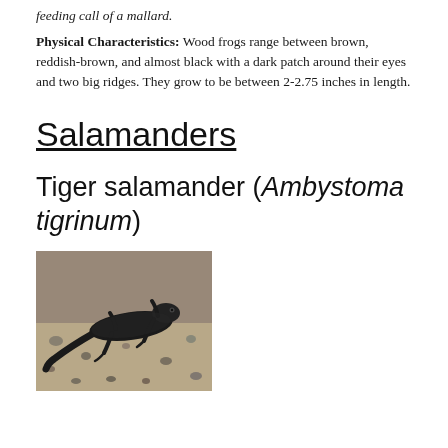feeding call of a mallard.
Physical Characteristics: Wood frogs range between brown, reddish-brown, and almost black with a dark patch around their eyes and two big ridges. They grow to be between 2-2.75 inches in length.
Salamanders
Tiger salamander (Ambystoma tigrinum)
[Figure (photo): A tiger salamander (Ambystoma tigrinum) photographed on sandy/gravelly ground, viewed from above. The salamander appears dark/black with a long tail and four visible legs.]